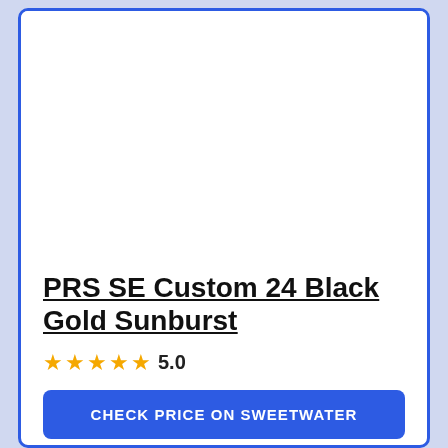[Figure (photo): White empty product image area at top of card]
PRS SE Custom 24 Black Gold Sunburst
★★★★★ 5.0
CHECK PRICE ON SWEETWATER
CHECK PRICE ON AMAZON